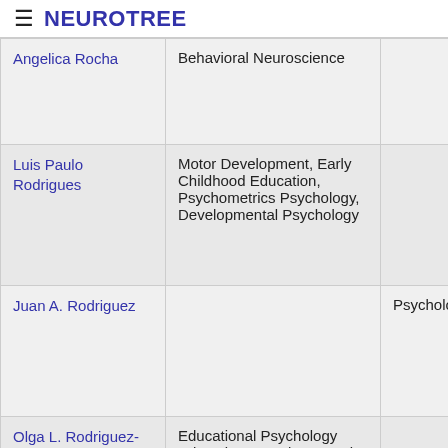≡ NEUROTREE
| Name | Field | Other |
| --- | --- | --- |
| Angelica Rocha | Behavioral Neuroscience |  |
| Luis Paulo Rodrigues | Motor Development, Early Childhood Education, Psychometrics Psychology, Developmental Psychology |  |
| Juan A. Rodriguez |  | Psychology |
| Olga L. Rodriguez-Escobar | Educational Psychology Education, Developmental Psychology |  |